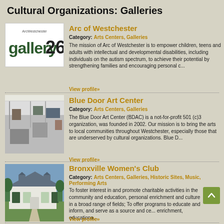Cultural Organizations: Galleries
[Figure (logo): Arc of Westchester Gallery 265 logo — black text 'gallery265' with 'ArcWestchester' text above]
Arc of Westchester
Category: Arts Centers, Galleries
The mission of Arc of Westchester is to empower children, teens and adults with intellectual and developmental disabilities, including individuals on the autism spectrum, to achieve their potential by strengthening families and encouraging personal c...
View profile»
[Figure (photo): Interior of Blue Door Art Center — white gallery space with artwork on walls]
Blue Door Art Center
Category: Arts Centers, Galleries
The Blue Door Art Center (BDAC) is a not-for-profit 501 (c)3 organization, was founded in 2002. Our mission is to bring the arts to local communities throughout Westchester, especially those that are underserved by cultural organizations. Blue D...
View profile»
[Figure (photo): Exterior of Bronxville Women's Club — white colonial building with green shutters and trees]
Bronxville Women's Club
Category: Arts Centers, Galleries, Historic Sites, Music, Performing Arts
To foster interest in and promote charitable activities in the community and education, personal enrichment and culture in a broad range of fields; To offer programs to educate and inform, and serve as a source and ce... enrichment, educationa...
View profile»